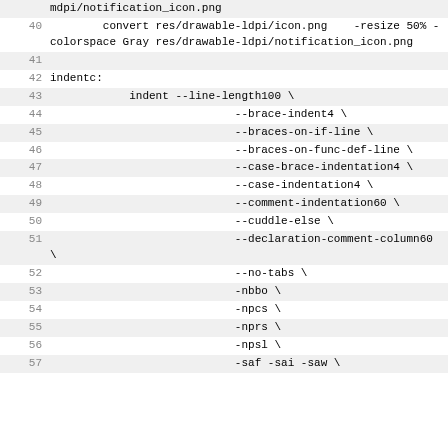| line | code |
| --- | --- |
|  | mdpi/notification_icon.png |
| 40 |         convert res/drawable-ldpi/icon.png    -resize 50% -colorspace Gray res/drawable-ldpi/notification_icon.png |
| 41 |  |
| 42 | indentc: |
| 43 |             indent --line-length100 \ |
| 44 |                             --brace-indent4 \ |
| 45 |                             --braces-on-if-line \ |
| 46 |                             --braces-on-func-def-line \ |
| 47 |                             --case-brace-indentation4 \ |
| 48 |                             --case-indentation4 \ |
| 49 |                             --comment-indentation60 \ |
| 50 |                             --cuddle-else \ |
| 51 |                             --declaration-comment-column60 \ |
| 52 |                             --no-tabs \ |
| 53 |                             -nbbo \ |
| 54 |                             -npcs \ |
| 55 |                             -nprs \ |
| 56 |                             -npsl \ |
| 57 |                             -saf -sai -saw \ |